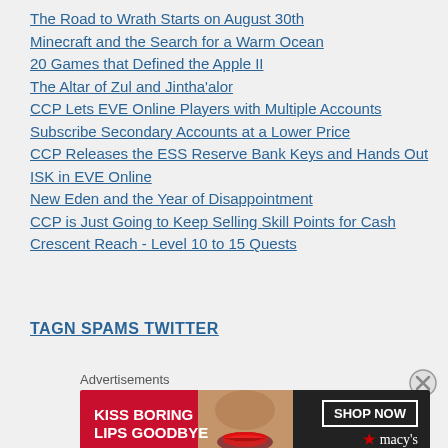The Road to Wrath Starts on August 30th
Minecraft and the Search for a Warm Ocean
20 Games that Defined the Apple II
The Altar of Zul and Jintha'alor
CCP Lets EVE Online Players with Multiple Accounts Subscribe Secondary Accounts at a Lower Price
CCP Releases the ESS Reserve Bank Keys and Hands Out ISK in EVE Online
New Eden and the Year of Disappointment
CCP is Just Going to Keep Selling Skill Points for Cash
Crescent Reach - Level 10 to 15 Quests
TAGN SPAMS TWITTER
[Figure (screenshot): Advertisement banner for Macy's with text 'KISS BORING LIPS GOODBYE' and 'SHOP NOW' button with Macy's logo on dark background, with woman's face/lips image]